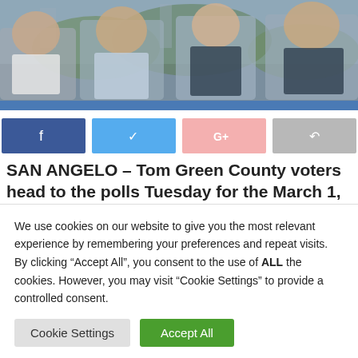[Figure (photo): Group photo of four men in suits/business attire with city/park background, partially obscured by a blue horizontal bar at the bottom]
[Figure (infographic): Four social media share buttons: Facebook (dark blue with f icon), Twitter (light blue with bird icon), Google+ (pink with G+ icon), Share (gray with arrow icon)]
SAN ANGELO – Tom Green County voters head to the polls Tuesday for the March 1, 2022 Republican and
We use cookies on our website to give you the most relevant experience by remembering your preferences and repeat visits. By clicking “Accept All”, you consent to the use of ALL the cookies. However, you may visit "Cookie Settings" to provide a controlled consent.